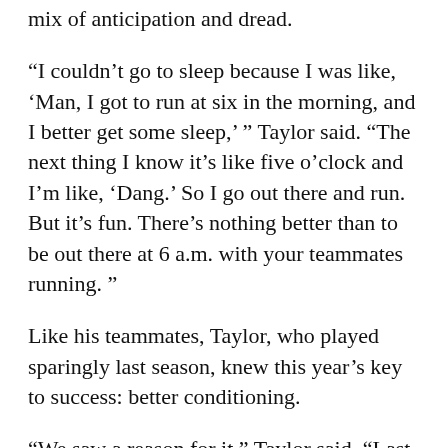mix of anticipation and dread.
“I couldn’t go to sleep because I was like, ‘Man, I got to run at six in the morning, and I better get some sleep,’ ” Taylor said. “The next thing I know it’s like five o’clock and I’m like, ‘Dang.’ So I go out there and run. But it’s fun. There’s nothing better than to be out there at 6 a.m. with your teammates running. ”
Like his teammates, Taylor, who played sparingly last season, knew this year’s key to success: better conditioning.
“We saw a reason for it,” Taylor said. “Last year, when you watch film, you get sick to your stomach because you see players